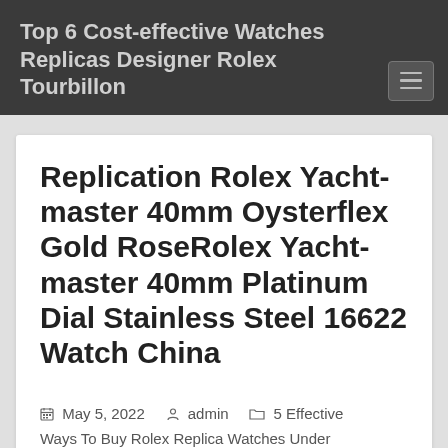Top 6 Cost-effective Watches Replicas Designer Rolex Tourbillon
Replication Rolex Yachtmaster 40mm Oysterflex Gold RoseRolex Yachtmaster 40mm Platinum Dial Stainless Steel 16622 Watch China
May 5, 2022   admin   5 Effective Ways To Buy Rolex Replica Watches Under $39